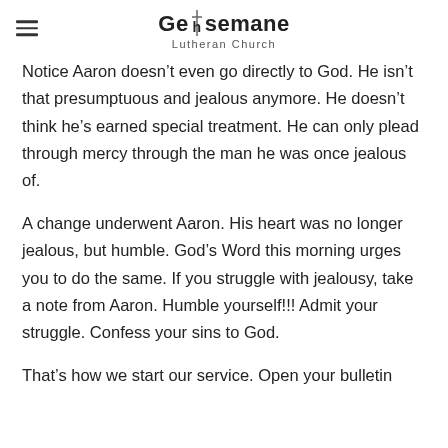Gethsemane Lutheran Church
Notice Aaron doesn't even go directly to God. He isn't that presumptuous and jealous anymore. He doesn't think he's earned special treatment. He can only plead through mercy through the man he was once jealous of.
A change underwent Aaron. His heart was no longer jealous, but humble. God's Word this morning urges you to do the same. If you struggle with jealousy, take a note from Aaron. Humble yourself!!! Admit your struggle. Confess your sins to God.
That's how we start our service. Open your bulletin